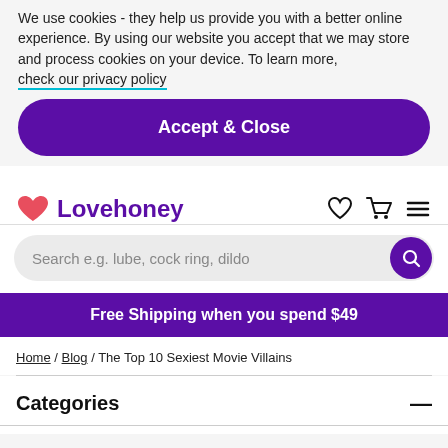We use cookies - they help us provide you with a better online experience. By using our website you accept that we may store and process cookies on your device. To learn more, check our privacy policy
Accept & Close
[Figure (logo): Lovehoney logo with pink heart icon and purple text]
Search e.g. lube, cock ring, dildo
Free Shipping when you spend $49
Home / Blog / The Top 10 Sexiest Movie Villains
Categories